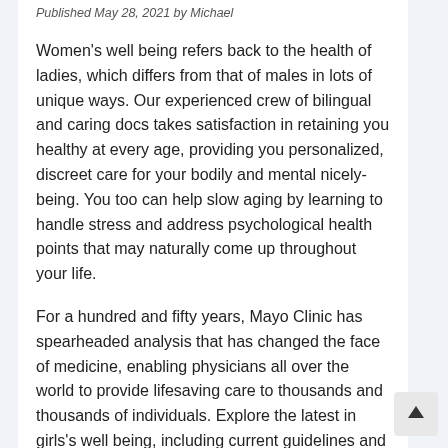Published May 28, 2021 by Michael
Women's well being refers back to the health of ladies, which differs from that of males in lots of unique ways. Our experienced crew of bilingual and caring docs takes satisfaction in retaining you healthy at every age, providing you personalized, discreet care for your bodily and mental nicely-being. You too can help slow aging by learning to handle stress and address psychological health points that may naturally come up throughout your life.
For a hundred and fifty years, Mayo Clinic has spearheaded analysis that has changed the face of medicine, enabling physicians all over the world to provide lifesaving care to thousands and thousands of individuals. Explore the latest in girls's well being, including current guidelines and adverse administrations for right and long…